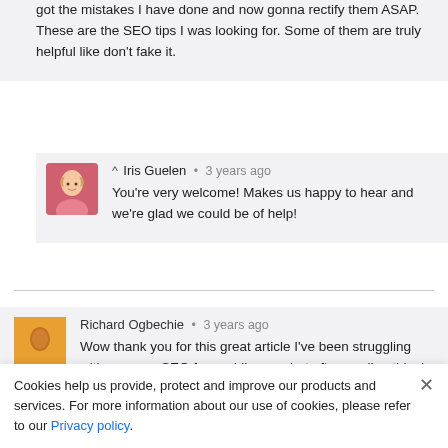got the mistakes I have done and now gonna rectify them ASAP. These are the SEO tips I was looking for. Some of them are truly helpful like don’t fake it.
^ Iris Guelen • 3 years ago
You’re very welcome! Makes us happy to hear and we’re glad we could be of help!
Richard Ogbechie • 3 years ago
Wow thank you for this great article I’ve been struggling with ...
Cookies help us provide, protect and improve our products and services. For more information about our use of cookies, please refer to our Privacy policy.